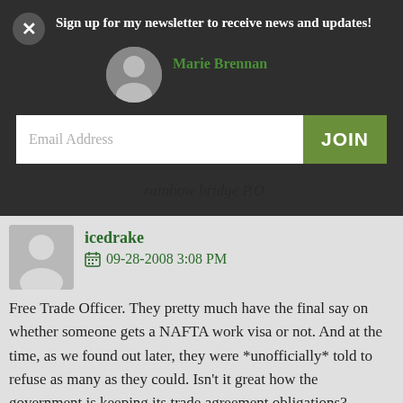Sign up for my newsletter to receive news and updates!
Marie Brennan
Email Address
JOIN
rainbow bridge P.O.
icedrake
09-28-2008 3:08 PM
Free Trade Officer. They pretty much have the final say on whether someone gets a NAFTA work visa or not. And at the time, as we found out later, they were *unofficially* told to refuse as many as they could. Isn't it great how the government is keeping its trade agreement obligations?
Though even that time doesn't beat the experience at Toronto Airport.
“Your experience doesn’t match the definition of technical writer.”